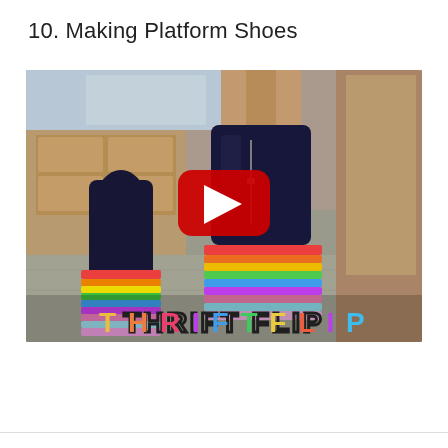10. Making Platform Shoes
[Figure (screenshot): YouTube video thumbnail showing rainbow platform shoes/boots with 'THRIFT FLIP' text overlay and a YouTube play button in the center. A person is wearing dark navy velvet ankle boots with thick rainbow-striped platform soles. The setting is a concrete patio/driveway area near a kitchen interior visible through a doorway.]